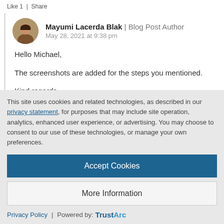Like 1 | Share
Mayumi Lacerda Blak | Blog Post Author
May 28, 2021 at 9:38 pm
Hello Michael,

The screenshots are added for the steps you mentioned.

Kind regards

Mayumi
This site uses cookies and related technologies, as described in our privacy statement, for purposes that may include site operation, analytics, enhanced user experience, or advertising. You may choose to consent to our use of these technologies, or manage your own preferences.
Accept Cookies
More Information
Privacy Policy | Powered by: TrustArc